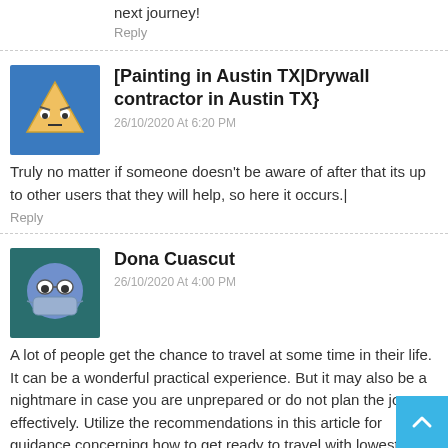next journey!
Reply
[Painting in Austin TX|Drywall contractor in Austin TX}
26/10/2020 At 6:20 PM
Truly no matter if someone doesn't be aware of after that its up to other users that they will help, so here it occurs.|
Reply
Dona Cuascut
26/10/2020 At 4:00 PM
A lot of people get the chance to travel at some time in their life. It can be a wonderful practical experience. But it may also be a nightmare in case you are unprepared or do not plan the journey effectively. Utilize the recommendations in this article for guidance concerning how to get ready to travel with lowest issues. When